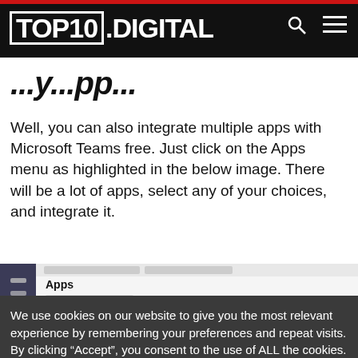TOP10.DIGITAL
...y...pp...
Well, you can also integrate multiple apps with Microsoft Teams free. Just click on the Apps menu as highlighted in the below image. There will be a lot of apps, select any of your choices, and integrate it.
[Figure (screenshot): Microsoft Teams Apps screen showing sidebar navigation and Apps panel with search bar and All apps label]
We use cookies on our website to give you the most relevant experience by remembering your preferences and repeat visits. By clicking “Accept”, you consent to the use of ALL the cookies.
Cookie settings  ACCEPT